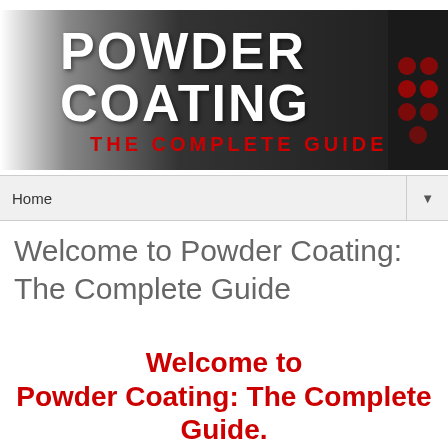[Figure (logo): Powder Coating: The Complete Guide banner logo with white bold text on dark grey/black background and red subtitle text, with decorative red dots on the right side]
Home ▼
Welcome to Powder Coating: The Complete Guide
Welcome to Powder Coating: The Complete Guide.